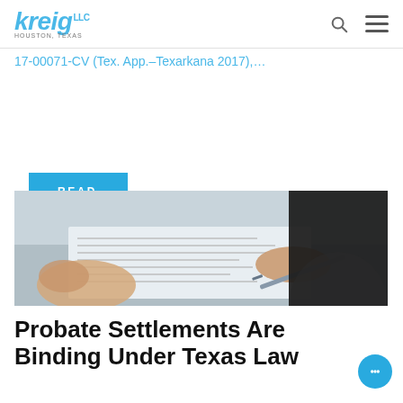kreig LLC — Houston, Texas
17-00071-CV (Tex. App.–Texarkana 2017),…
READ MORE
[Figure (photo): Close-up photo of two people at a table, one signing a document with a pen while another rests their hand near the paper. The right portion of the image is partially obscured by a dark overlay.]
Probate Settlements Are Binding Under Texas Law